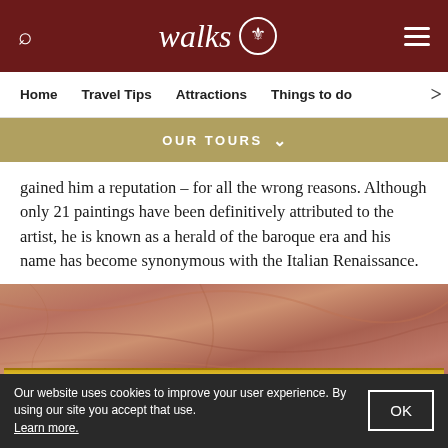walks
Home  Travel Tips  Attractions  Things to do
OUR TOURS
gained him a reputation – for all the wrong reasons. Although only 21 paintings have been definitively attributed to the artist, he is known as a herald of the baroque era and his name has become synonymous with the Italian Renaissance.
[Figure (photo): Close-up of an ornate gold picture frame against a textured reddish-brown marble or stone background]
Our website uses cookies to improve your user experience. By using our site you accept that use. Learn more.